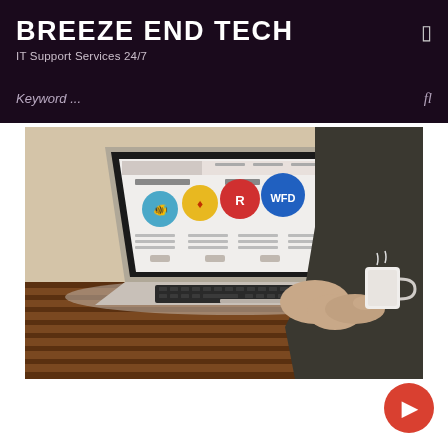BREEZE END TECH
IT Support Services 24/7
Keyword ...
[Figure (photo): Person working on a MacBook laptop at a wooden table, screen showing a web design interface with colorful circular icons, coffee mug on right side]
[Figure (other): Red circular FAB button with arrow icon in bottom right corner]